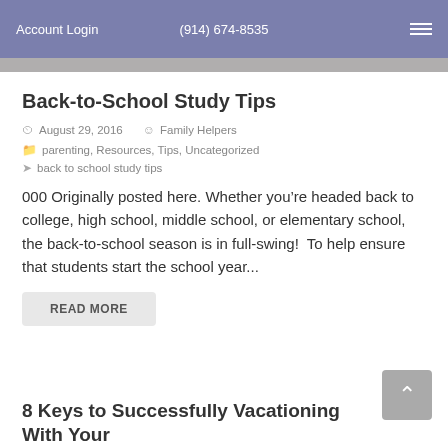Account Login  (914) 674-8535
Back-to-School Study Tips
August 29, 2016   Family Helpers
parenting, Resources, Tips, Uncategorized
back to school study tips
000 Originally posted here. Whether you’re headed back to college, high school, middle school, or elementary school, the back-to-school season is in full-swing!  To help ensure that students start the school year...
READ MORE
8 Keys to Successfully Vacationing With Your